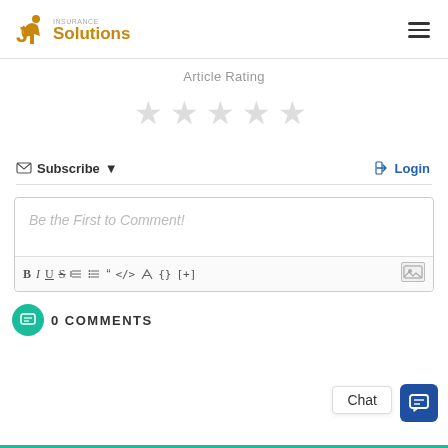Solutions (logo/navigation header)
Article Rating
[Figure (illustration): Five empty/unfilled star icons for article rating]
Subscribe ▼
Login
Be the First to Comment!
B I U S (ordered list) (unordered list) " <> {} [+] (image)
0 COMMENTS
Chat